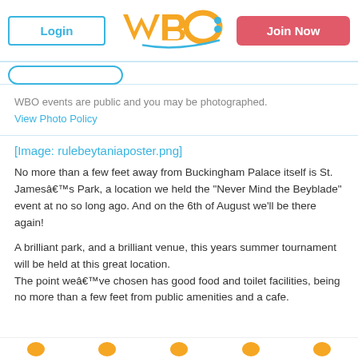Login | WBO | Join Now
WBO events are public and you may be photographed. View Photo Policy
[Figure (other): Image placeholder: rulebeytaniaposter.png]
No more than a few feet away from Buckingham Palace itself is St. Jamesâ€™s Park, a location we held the "Never Mind the Beyblade" event at no so long ago. And on the 6th of August we'll be there again!
A brilliant park, and a brilliant venue, this years summer tournament will be held at this great location. The point weâ€™ve chosen has good food and toilet facilities, being no more than a few feet from public amenities and a cafe.